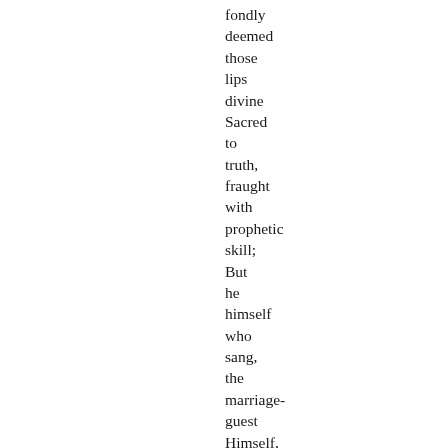fondly deemed those lips divine Sacred to truth, fraught with prophetic skill; But he himself who sang, the marriage-guest Himself, who spake all this,